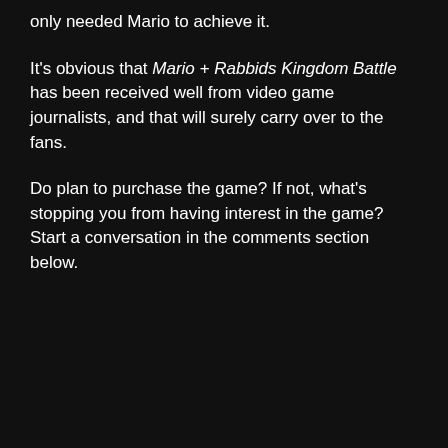only needed Mario to achieve it.
It's obvious that Mario + Rabbids Kingdom Battle has been received well from video game journalists, and that will surely carry over to the fans.
Do plan to purchase the game? If not, what's stopping you from having interest in the game? Start a conversation in the comments section below.